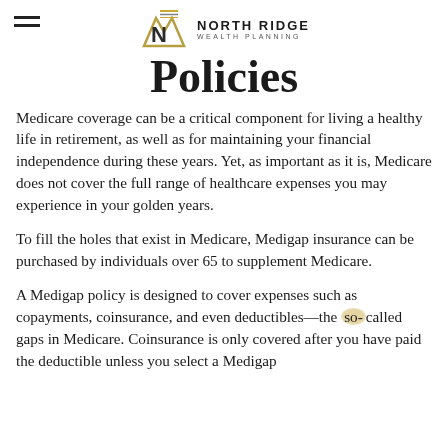[Figure (logo): North Ridge Wealth Planning logo with stylized mountain and N graphic above the company name]
Policies
Medicare coverage can be a critical component for living a healthy life in retirement, as well as for maintaining your financial independence during these years. Yet, as important as it is, Medicare does not cover the full range of healthcare expenses you may experience in your golden years.
To fill the holes that exist in Medicare, Medigap insurance can be purchased by individuals over 65 to supplement Medicare.
A Medigap policy is designed to cover expenses such as copayments, coinsurance, and even deductibles—the so-called gaps in Medicare. Coinsurance is only covered after you have paid the deductible unless you select a Medigap